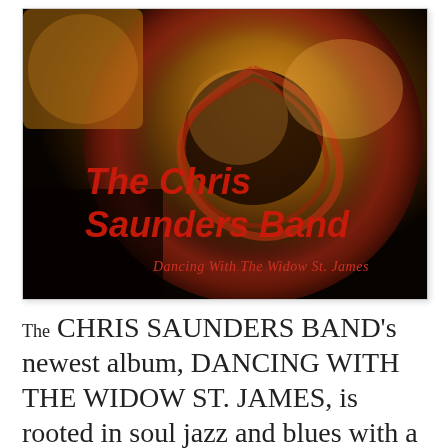[Figure (photo): Album cover for The Chris Saunders Band 'Dancing With The Widow St. James'. Shows a close-up top-down view of a brass instrument (likely a tuba or saxophone bell) with warm amber/golden and dark tones. Red bold italic text reads 'The Chris Saunders Band' and lighter red serif text reads 'Dancing With The Widow St. James'.]
The CHRIS SAUNDERS BAND's newest album, DANCING WITH THE WIDOW ST. JAMES, is rooted in soul jazz and blues with a subtle reference to pop